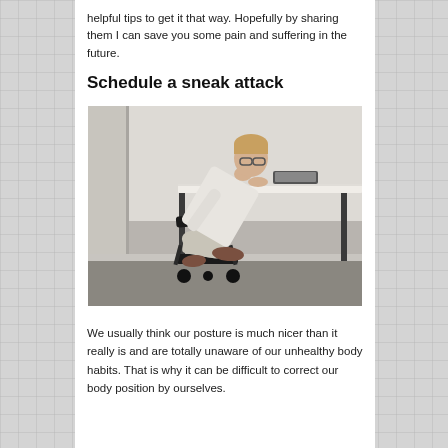helpful tips to get it that way. Hopefully by sharing them I can save you some pain and suffering in the future.
Schedule a sneak attack
[Figure (photo): A man sitting on a kneeling ergonomic chair at a desk, leaning forward with his head resting on his hand, appearing stressed or tired while working at a tablet on a white desk. The setting is a minimal office with white walls and a dark floor.]
We usually think our posture is much nicer than it really is and are totally unaware of our unhealthy body habits. That is why it can be difficult to correct our body position by ourselves.